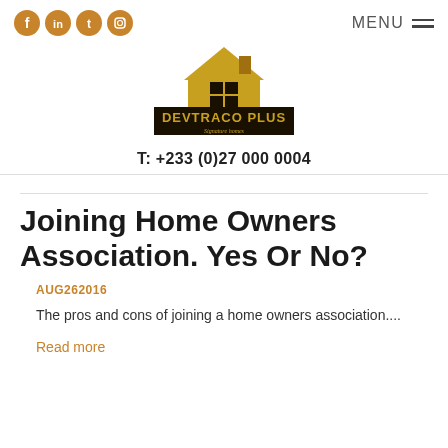[Figure (logo): Devtraco Plus logo with house icon and text 'DEVTRACO PLUS Signature homes']
T: +233 (0)27 000 0004
Joining Home Owners Association. Yes Or No?
AUG262016
The pros and cons of joining a home owners association....
Read more